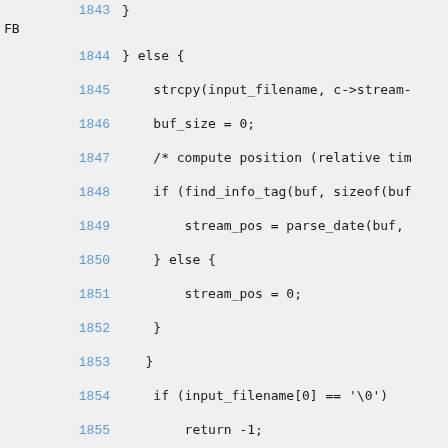Code listing lines 1843-1858 showing C source code with git annotations
1843: }
FB
1844: } else {
1845: strcpy(input_filename, c->stream-
1846: buf_size = 0;
1847: /* compute position (relative tim
1848: if (find_info_tag(buf, sizeof(buf
1849: stream_pos = parse_date(buf,
1850: } else {
1851: stream_pos = 0;
1852: }
1853: }
1854: if (input_filename[0] == '\0')
1855: return -1;
1856:
8256c0a3 1857: #if 0
PG
1858: { time_t when = stream_pos / 1000000;